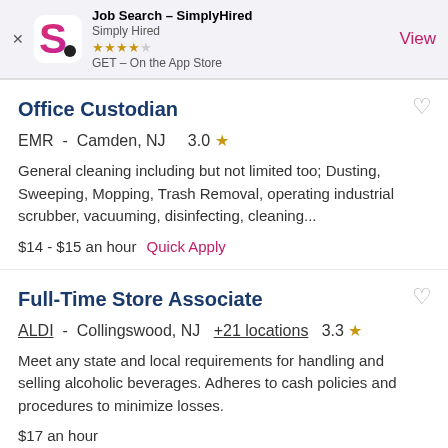[Figure (screenshot): App Store banner for Job Search - SimplyHired app with logo, star rating, and View button]
Office Custodian
EMR -  Camden, NJ    3.0 ★
General cleaning including but not limited too; Dusting, Sweeping, Mopping, Trash Removal, operating industrial scrubber, vacuuming, disinfecting, cleaning...
$14 - $15 an hour  Quick Apply
Full-Time Store Associate
ALDI -  Collingswood, NJ  +21 locations  3.3 ★
Meet any state and local requirements for handling and selling alcoholic beverages. Adheres to cash policies and procedures to minimize losses.
$17 an hour